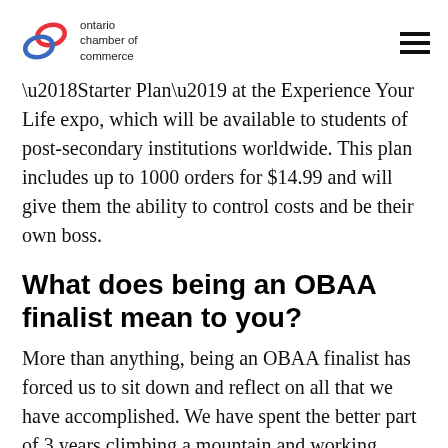ontario chamber of commerce
‘Starter Plan’ at the Experience Your Life expo, which will be available to students of post-secondary institutions worldwide. This plan includes up to 1000 orders for $14.99 and will give them the ability to control costs and be their own boss.
What does being an OBAA finalist mean to you?
More than anything, being an OBAA finalist has forced us to sit down and reflect on all that we have accomplished. We have spent the better part of 3 years climbing a mountain and working